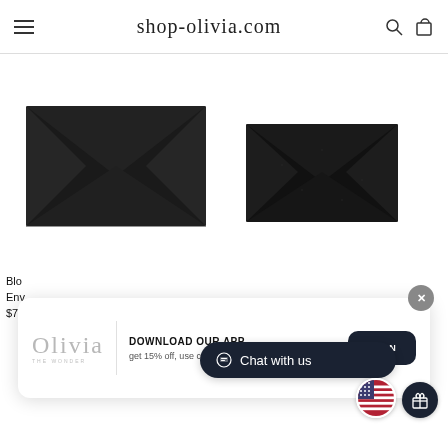shop-olivia.com
[Figure (photo): Black envelope-style leather clutch/card holder, larger size, matte finish, photographed on white background]
[Figure (photo): Black envelope-style leather card holder, smaller size, slightly textured/sparkle finish, photographed on white background]
Blo
Env
$70
[Figure (screenshot): App download popup overlay with Olivia logo, text 'DOWNLOAD OUR APP get 15% off, use code APP15', and OPEN button]
Chat with us